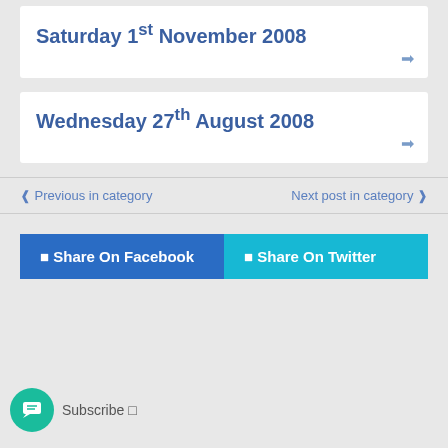Saturday 1st November 2008
Wednesday 27th August 2008
Previous in category   Next post in category
Share On Facebook   Share On Twitter
Subscribe